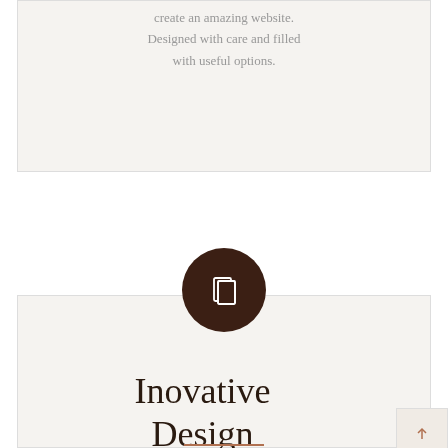create an amazing website. Designed with care and filled with useful options.
[Figure (illustration): Dark brown circle with white copy/pages icon inside]
Inovative Design